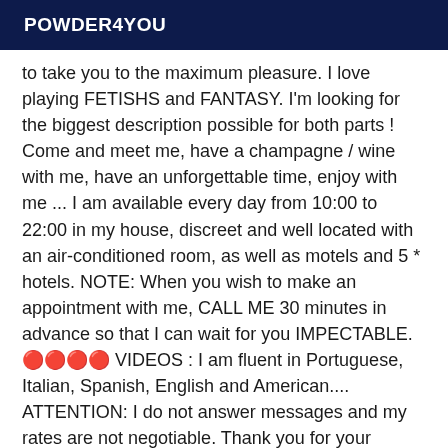POWDER4YOU
to take you to the maximum pleasure. I love playing FETISHS and FANTASY. I'm looking for the biggest description possible for both parts ! Come and meet me, have a champagne / wine with me, have an unforgettable time, enjoy with me ... I am available every day from 10:00 to 22:00 in my house, discreet and well located with an air-conditioned room, as well as motels and 5 * hotels. NOTE: When you wish to make an appointment with me, CALL ME 30 minutes in advance so that I can wait for you IMPECTABLE. 🔴🔴🔴🔴 VIDEOS : I am fluent in Portuguese, Italian, Spanish, English and American.... ATTENTION: I do not answer messages and my rates are not negotiable. Thank you for your understanding Legal Privacy Policy. Any unauthorized use of my profile, video, images, or audio in any form whatsoever or in any forum or social network now or in the future is not allowed without my written consent. Any act to promote or benefit in any way (e.g. financially or